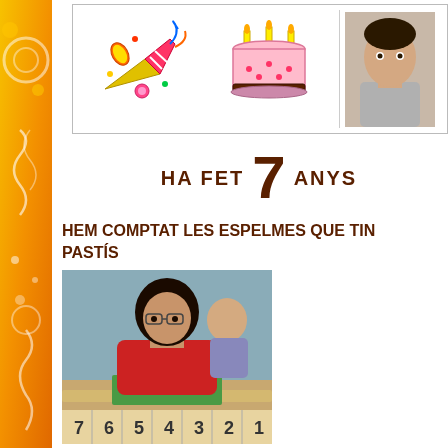[Figure (illustration): Top strip with three images: party decorations/noisemaker illustration, birthday cake illustration, and a photo of a child]
HA FET 7 ANYS
HEM COMPTAT LES ESPELMES QUE TIN... PASTÍS
[Figure (photo): Photo of a child with curly hair wearing glasses and a red sweater, working at a table with numbered cards arranged in a row (7 6 5 4 3 2 1)]